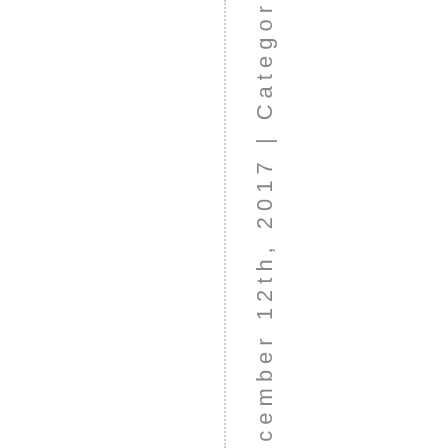December 12th, 2017 | Categor…